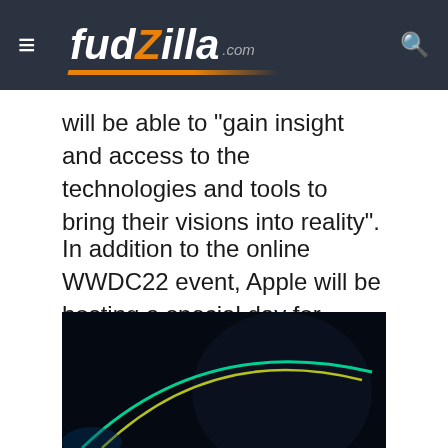fudzilla.com
will be able to "gain insight and access to the technologies and tools to bring their visions into reality".
In addition to the online WWDC22 event, Apple will be hosting a special day for developers and students at Apple Park on June 6 to watch the keynote and State of the Union videos together, along with the online community.
You can check out more details over at Apple's WWDC22 site.
[Figure (photo): Dark background image with colorful arc lines (green, yellow) suggesting the WWDC22 logo or event graphic]